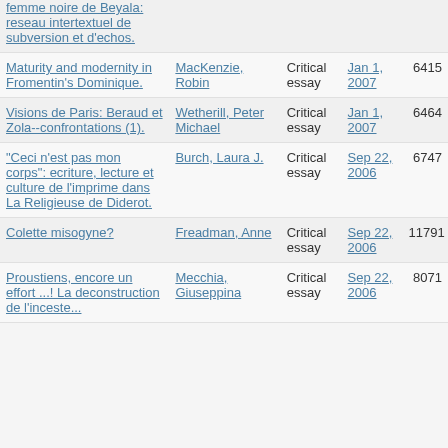| Title | Author | Type | Date | Words |
| --- | --- | --- | --- | --- |
| femme noire de Beyala: reseau intertextuel de subversion et d'echos. |  |  |  |  |
| Maturity and modernity in Fromentin's Dominique. | MacKenzie, Robin | Critical essay | Jan 1, 2007 | 6415 |
| Visions de Paris: Beraud et Zola--confrontations (1). | Wetherill, Peter Michael | Critical essay | Jan 1, 2007 | 6464 |
| "Ceci n'est pas mon corps": ecriture, lecture et culture de l'imprime dans La Religieuse de Diderot. | Burch, Laura J. | Critical essay | Sep 22, 2006 | 6747 |
| Colette misogyne? | Freadman, Anne | Critical essay | Sep 22, 2006 | 11791 |
| Proustiens, encore un effort ...! La deconstruction de l'inceste... | Mecchia, Giuseppina | Critical essay | Sep 22, 2006 | 8071 |